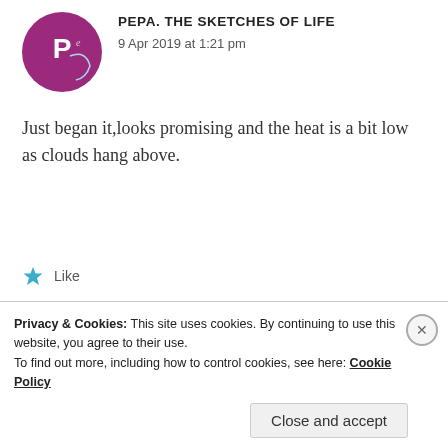[Figure (logo): PEPA. THE SKETCHES OF LIFE blog avatar logo with purple circle and cursive text]
PEPA. THE SKETCHES OF LIFE
9 Apr 2019 at 1:21 pm
Just began it,looks promising and the heat is a bit low as clouds hang above.
Like
[Figure (photo): Circular avatar photo of a person with dark hair, brown/red tones]
ZEALOUS HOMO SAPIENS
9 Apr 2019 at 1:36 pm
Privacy & Cookies: This site uses cookies. By continuing to use this website, you agree to their use.
To find out more, including how to control cookies, see here: Cookie Policy
Close and accept